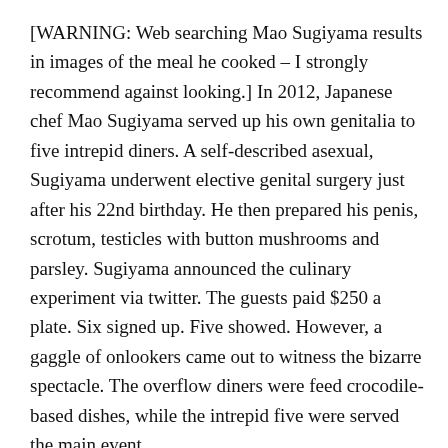[WARNING: Web searching Mao Sugiyama results in images of the meal he cooked – I strongly recommend against looking.] In 2012, Japanese chef Mao Sugiyama served up his own genitalia to five intrepid diners. A self-described asexual, Sugiyama underwent elective genital surgery just after his 22nd birthday. He then prepared his penis, scrotum, testicles with button mushrooms and parsley. Sugiyama announced the culinary experiment via twitter. The guests paid $250 a plate. Six signed up. Five showed. However, a gaggle of onlookers came out to witness the bizarre spectacle. The overflow diners were feed crocodile-based dishes, while the intrepid five were served the main event.